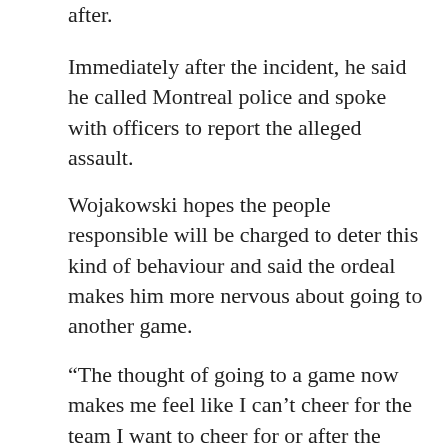after.
Immediately after the incident, he said he called Montreal police and spoke with officers to report the alleged assault.
Wojakowski hopes the people responsible will be charged to deter this kind of behaviour and said the ordeal makes him more nervous about going to another game.
“The thought of going to a game now makes me feel like I can’t cheer for the team I want to cheer for or after the game I have to take off my jersey so I don’t get attacked,” he said.
“I think it's really disgusting ... Now that we’re finally getting the privilege to open up and finally attend hockey games and that’s the way